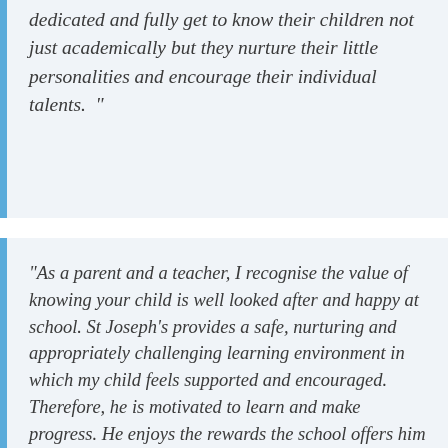dedicated and fully get to know their children not just academically but they nurture their little personalities and encourage their individual talents. "
"As a parent and a teacher, I recognise the value of knowing your child is well looked after and happy at school. St Joseph's provides a safe, nurturing and appropriately challenging learning environment in which my child feels supported and encouraged. Therefore, he is motivated to learn and make progress. He enjoys the rewards the school offers him for effort, good work and